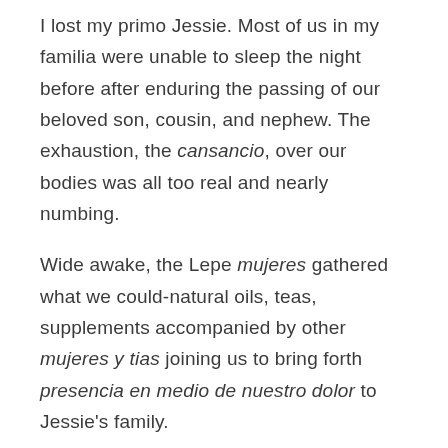I lost my primo Jessie. Most of us in my familia were unable to sleep the night before after enduring the passing of our beloved son, cousin, and nephew. The exhaustion, the cansancio, over our bodies was all too real and nearly numbing.

Wide awake, the Lepe mujeres gathered what we could-natural oils, teas, supplements accompanied by other mujeres y tias joining us to bring forth presencia en medio de nuestro dolor to Jessie's family.